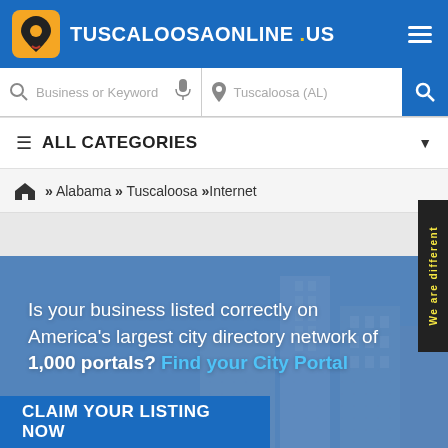TUSCALOOSAONLINE.US
Business or Keyword | Tuscaloosa (AL)
ALL CATEGORIES
» Alabama » Tuscaloosa »Internet
Is your business listed correctly on America's largest city directory network of 1,000 portals? Find your City Portal
CLAIM YOUR LISTING NOW
We are different